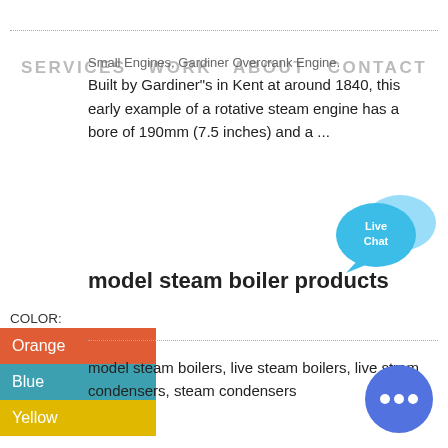SERVICES  WORK  ABOUT  CONTACT
Small Engines, Gardiner Overcrank Engine. Built by Gardiner"s in Kent at around 1840, this early example of a rotative steam engine has a bore of 190mm (7.5 inches) and a ...
[Figure (illustration): Live Chat speech bubble icon in light blue]
model steam boiler products
| COLOR: |
| --- |
| Orange |
| Blue |
| Yellow |
model steam boilers, live steam boilers, live stram condensers, steam condensers
[Figure (illustration): Blue circular chat button with three dots]